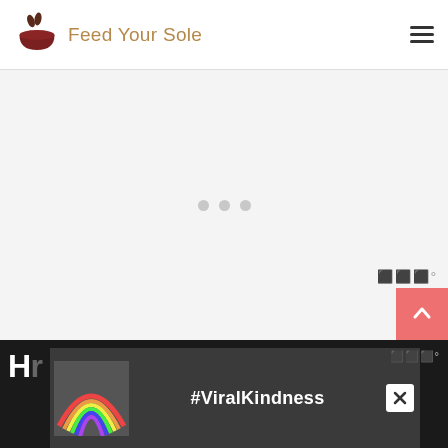[Figure (logo): Feed Your Sole logo with a dark red bowl with bunny ears and the text 'Feed Your Sole' in brown handwritten font]
[Figure (other): Hamburger menu icon (three horizontal lines) in top right corner]
[Figure (other): Light gray slider/carousel area with three dot navigation indicators in the center]
[Figure (other): Salmon/coral colored scroll-to-top button with upward chevron arrow in lower right]
[Figure (other): Wix logo watermark in gray]
[Figure (screenshot): Dark bottom bar showing partial text 'H...s' in white bold font, with an overlay advertisement featuring a rainbow illustration and '#ViralKindness' text in white on dark background, with an X close button]